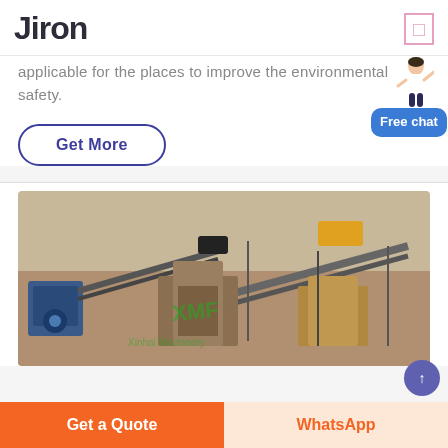Jiron
applicable for the places to improve the environmental safety.
Get More
[Figure (photo): Aerial view of a mining/quarrying operation with conveyor belts, crushers, and heavy equipment. XMF watermark visible.]
Get a Quote | WhatsApp